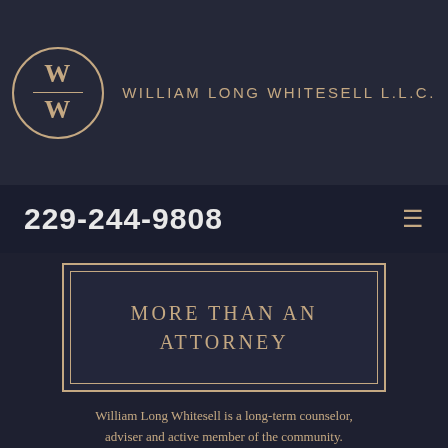William Long Whitesell L.L.C.
229-244-9808
MORE THAN AN ATTORNEY
William Long Whitesell is a long-term counselor, adviser and active member of the community.